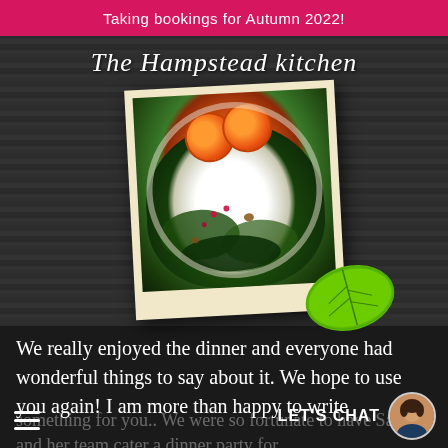Taking bookings for Autumn 2022!
[Figure (logo): The Hampstead Kitchen script logo in white italic text on dark wood background]
[Figure (photo): Polaroid-style photo of a salad bowl with blood oranges and mixed greens, with a mint leaf overlapping the bottom right corner, on a dark wood background]
We really enjoyed the dinner and everyone had wonderful things to say about it. We hope to use you again! I am more than happy to write something for you.. We were so fortunate to have Saima and her team cater a dinner party for
LET'S CHAT